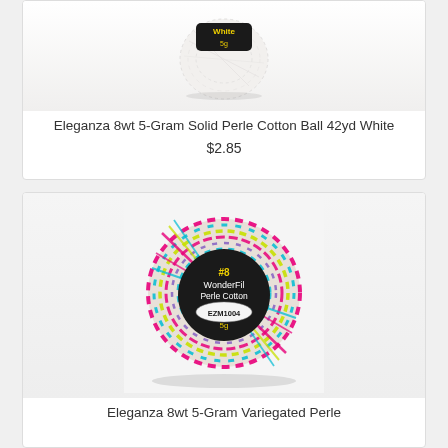[Figure (photo): White yarn ball with black label showing 'White 5g' text, WonderFil Eleganza perle cotton thread ball on light background]
Eleganza 8wt 5-Gram Solid Perle Cotton Ball 42yd White
$2.85
[Figure (photo): Multicolored variegated yarn ball with hot pink, yellow, teal, blue, green threads. Black label showing '#8 WonderFil Perle Cotton EZM1004 5g' on white background]
Eleganza 8wt 5-Gram Variegated Perle